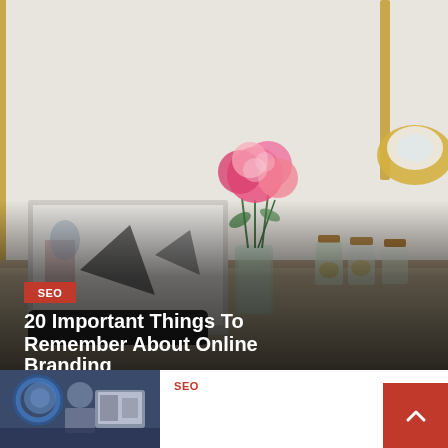[Figure (photo): Hero image of a stylish desk scene with pink roses in a glass vase, small glass jars, a laptop/tablet showing abstract art, a gold lamp in the background. Overlaid with dark gradient at bottom.]
SEO
20 Important Things To Remember About Online Branding
1 week ago  Melissa Williams
[Figure (photo): Small thumbnail image showing people in a tech/office environment with blue tones]
SEO